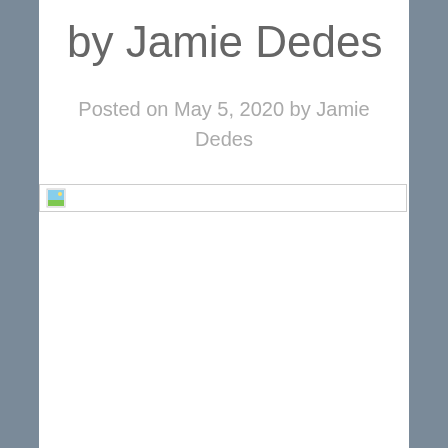by Jamie Dedes
Posted on May 5, 2020 by Jamie Dedes
[Figure (other): Broken image placeholder with small landscape icon thumbnail]